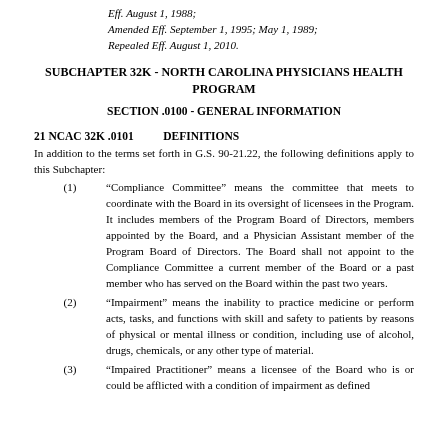Eff. August 1, 1988;
Amended Eff. September 1, 1995; May 1, 1989;
Repealed Eff. August 1, 2010.
SUBCHAPTER 32K - NORTH CAROLINA PHYSICIANS HEALTH PROGRAM
SECTION .0100 - GENERAL INFORMATION
21 NCAC 32K .0101    DEFINITIONS
In addition to the terms set forth in G.S. 90-21.22, the following definitions apply to this Subchapter:
(1) "Compliance Committee" means the committee that meets to coordinate with the Board in its oversight of licensees in the Program. It includes members of the Program Board of Directors, members appointed by the Board, and a Physician Assistant member of the Program Board of Directors. The Board shall not appoint to the Compliance Committee a current member of the Board or a past member who has served on the Board within the past two years.
(2) "Impairment" means the inability to practice medicine or perform acts, tasks, and functions with skill and safety to patients by reasons of physical or mental illness or condition, including use of alcohol, drugs, chemicals, or any other type of material.
(3) "Impaired Practitioner" means a licensee of the Board who is or could be afflicted with a condition of impairment as defined